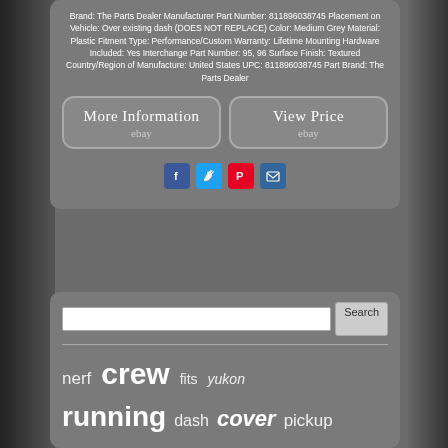Brand: The Parts Dealer Manufacturer Part Number: 811896038745 Placement on Vehicle: Over existing dash (DOES NOT REPLACE) Color: Medium Grey Material: Plastic Fitment Type: Performance/Custom Warranty: Lifetime Mounting Hardware Included: Yes Interchange Part Number: 95, 96 Surface Finish: Textured Country/Region of Manufacture: United States UPC: 811896038745 Part Brand: The Parts Dealer
[Figure (screenshot): Two eBay buttons: 'More Information ebay' and 'View Price ebay']
[Figure (infographic): Social media share icons: Facebook, Twitter, Pinterest, Email]
[Figure (screenshot): Search bar with Search button]
nerf crew fits yukon running dash cover pickup